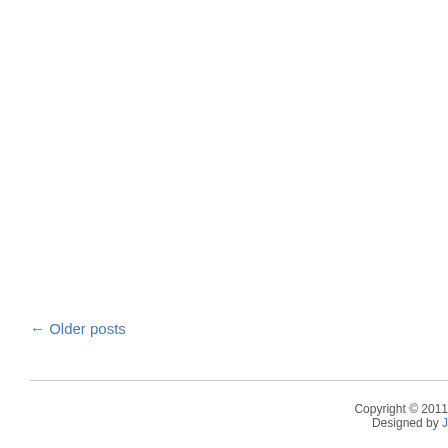← Older posts
Copyright © 2011 · Designed by J